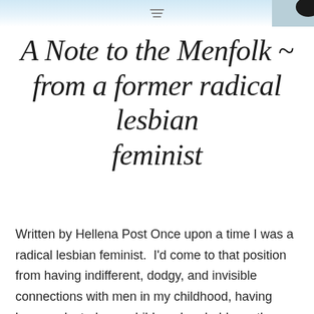A Note to the Menfolk ~ from a former radical lesbian feminist
Written by Hellena Post Once upon a time I was a radical lesbian feminist.  I'd come to that position from having indifferent, dodgy, and invisible connections with men in my childhood, having been molested as a child, and probably partly being really pissed off that my dad had left me and died when I was 7. After...